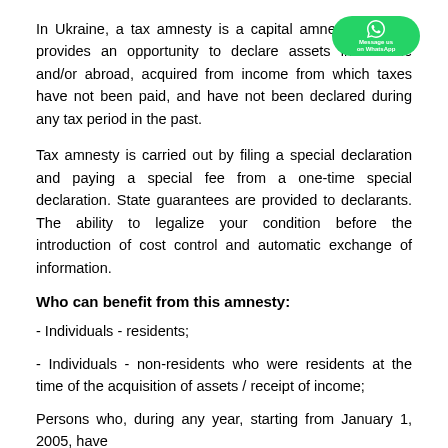In Ukraine, a tax amnesty is a capital amnesty, since it provides an opportunity to declare assets in Ukraine and/or abroad, acquired from income from which taxes have not been paid, and have not been declared during any tax period in the past.
Tax amnesty is carried out by filing a special declaration and paying a special fee from a one-time special declaration. State guarantees are provided to declarants. The ability to legalize your condition before the introduction of cost control and automatic exchange of information.
Who can benefit from this amnesty:
- Individuals - residents;
- Individuals - non-residents who were residents at the time of the acquisition of assets / receipt of income;
Persons who, during any year, starting from January 1, 2005, have